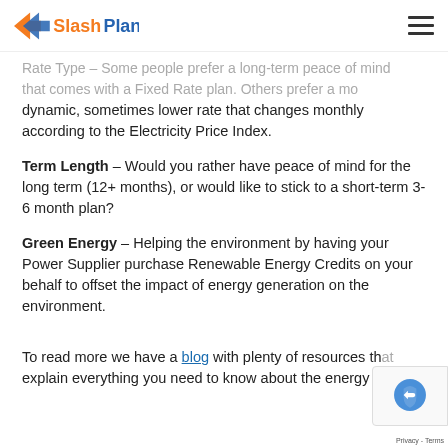SlashPlan logo and navigation
Rate Type – Some people prefer a long-term peace of mind that comes with a Fixed Rate plan. Others prefer a more dynamic, sometimes lower rate that changes monthly according to the Electricity Price Index.
Term Length – Would you rather have peace of mind for the long term (12+ months), or would like to stick to a short-term 3-6 month plan?
Green Energy – Helping the environment by having your Power Supplier purchase Renewable Energy Credits on your behalf to offset the impact of energy generation on the environment.
To read more we have a blog with plenty of resources that explain everything you need to know about the energy